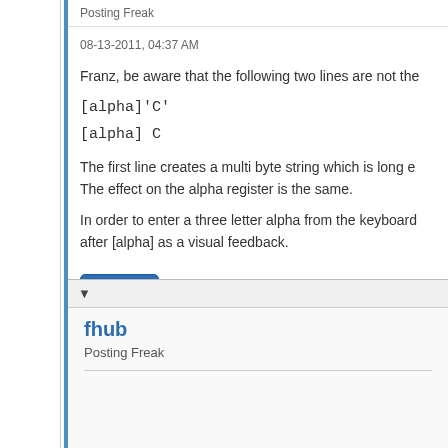Posting Freak
08-13-2011, 04:37 AM
Franz, be aware that the following two lines are not the
[alpha]'C'
[alpha] C
The first line creates a multi byte string which is long e. The effect on the alpha register is the same.
In order to enter a three letter alpha from the keyboard after [alpha] as a visual feedback.
Find
fhub
Posting Freak